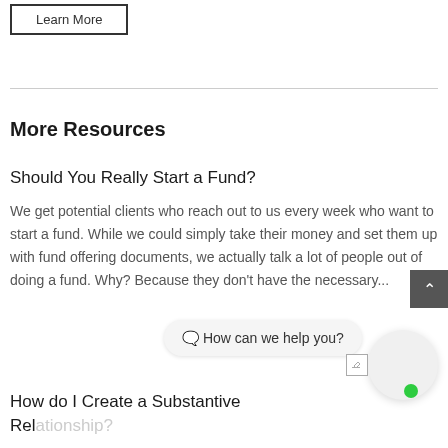Learn More
More Resources
Should You Really Start a Fund?
We get potential clients who reach out to us every week who want to start a fund. While we could simply take their money and set them up with fund offering documents, we actually talk a lot of people out of doing a fund. Why? Because they don't have the necessary...
🗨️ How can we help you?
How do I Create a Substantive Relationship?